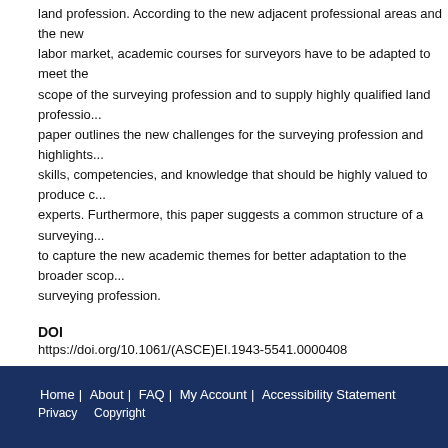land profession. According to the new adjacent professional areas and the new labor market, academic courses for surveyors have to be adapted to meet the scope of the surveying profession and to supply highly qualified land professionals. This paper outlines the new challenges for the surveying profession and highlights the skills, competencies, and knowledge that should be highly valued to produce certified experts. Furthermore, this paper suggests a common structure of a surveying program to capture the new academic themes for better adaptation to the broader scope of the surveying profession.
DOI
https://doi.org/10.1061/(ASCE)EI.1943-5541.0000408
Recommended Citation
Fahria Masum, Reinfried Mansberger, Audrey Martin,Gerhard Navratil, Anthony Mus... Adapting the Surveying Curriculum to New Dimensions of the Profession, 2019, Journal of Professional Issues in Engineering Education and Practice, 04019003, V 145, N 2, doi:10.1061/(ASCE)EI.1943 5541.0000408
Home | About | FAQ | My Account | Accessibility Statement Privacy Copyright